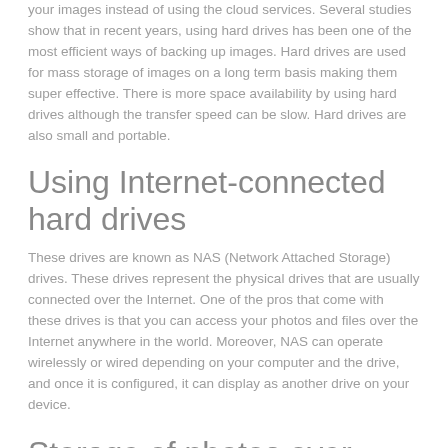your images instead of using the cloud services. Several studies show that in recent years, using hard drives has been one of the most efficient ways of backing up images. Hard drives are used for mass storage of images on a long term basis making them super effective. There is more space availability by using hard drives although the transfer speed can be slow. Hard drives are also small and portable.
Using Internet-connected hard drives
These drives are known as NAS (Network Attached Storage) drives. These drives represent the physical drives that are usually connected over the Internet. One of the pros that come with these drives is that you can access your photos and files over the Internet anywhere in the world. Moreover, NAS can operate wirelessly or wired depending on your computer and the drive, and once it is configured, it can display as another drive on your device.
Storage of photos over many libraries.